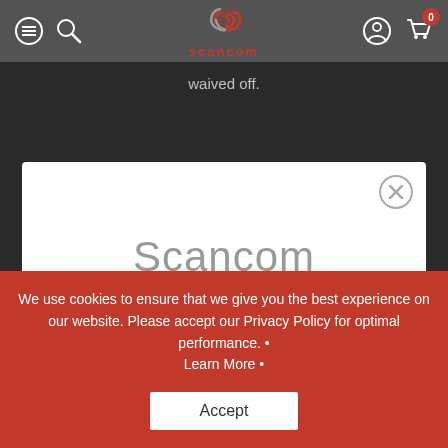scancom - navigation header with menu, search, logo, account, and cart icons
waived off.
[Figure (screenshot): Scancom modal popup with large grey 'Scancom' text and a close (X) button in top right corner]
We use cookies to ensure that we give you the best experience on our website. Please accept our Privacy Policy for optimal performance. • Learn More •
Accept